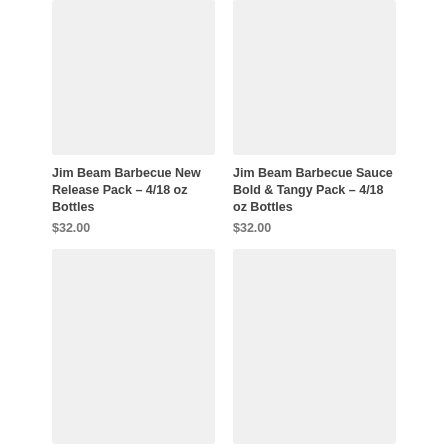[Figure (photo): Product image placeholder for Jim Beam Barbecue New Release Pack]
[Figure (photo): Product image placeholder for Jim Beam Barbecue Sauce Bold & Tangy Pack]
Jim Beam Barbecue New Release Pack – 4/18 oz Bottles
$32.00
Jim Beam Barbecue Sauce Bold & Tangy Pack – 4/18 oz Bottles
$32.00
[Figure (photo): Product image placeholder for Jim Beam Southern Tang]
[Figure (photo): Product image placeholder for Jim Beam Barbecue]
Jim Beam Southern Tang
Jim Beam Barbecue